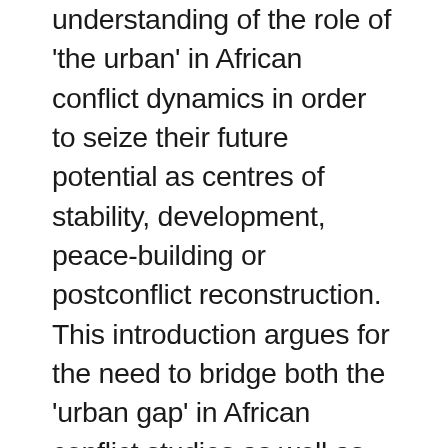understanding of the role of 'the urban' in African conflict dynamics in order to seize their future potential as centres of stability, development, peace-building or postconflict reconstruction. This introduction argues for the need to bridge both the 'urban gap' in African conflict studies as well as the 'political' gap in African urban studies. Building on empirical and analytical insights from multi-disciplinary research in different African conflict settings, the author presents urban centres in Uganda, Rwanda, Burundi, DR Congo, South Sudan and Kenya as crucial sites of